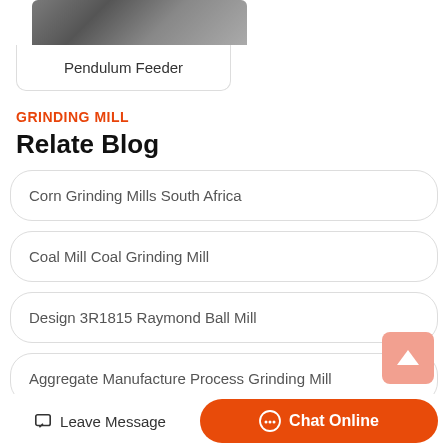[Figure (photo): Partial top image of a pendulum feeder machine with grey/dark rocky material]
Pendulum Feeder
GRINDING MILL
Relate Blog
Corn Grinding Mills South Africa
Coal Mill Coal Grinding Mill
Design 3R1815 Raymond Ball Mill
Aggregate Manufacture Process Grinding Mill
Leave Message  Chat Online